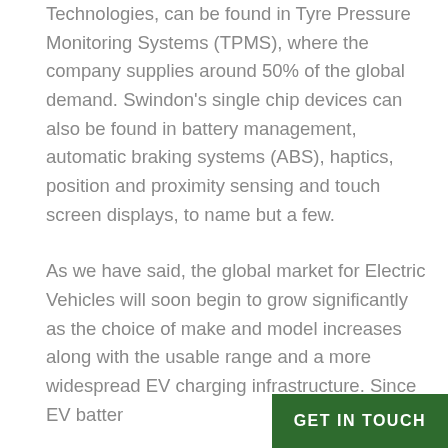Technologies, can be found in Tyre Pressure Monitoring Systems (TPMS), where the company supplies around 50% of the global demand. Swindon's single chip devices can also be found in battery management, automatic braking systems (ABS), haptics, position and proximity sensing and touch screen displays, to name but a few.
As we have said, the global market for Electric Vehicles will soon begin to grow significantly as the choice of make and model increases along with the usable range and a more widespread EV charging infrastructure. Since EV batter